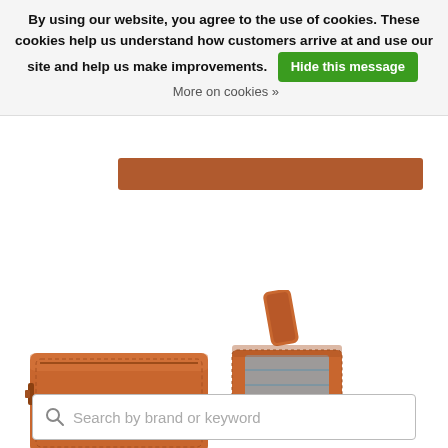By using our website, you agree to the use of cookies. These cookies help us understand how customers arrive at and use our site and help us make improvements. Hide this message More on cookies »
[Figure (photo): Partial view of a brown leather wallet product image (top portion cropped)]
[Figure (photo): Two brown leather wallets shown side by side: one closed flat wallet on the left, one open folded wallet on the right showing interior]
Search by brand or keyword